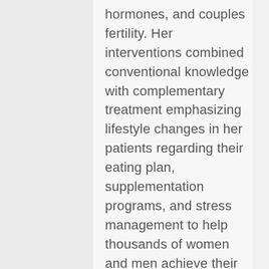hormones, and couples fertility. Her interventions combined conventional knowledge with complementary treatment emphasizing lifestyle changes in her patients regarding their eating plan, supplementation programs, and stress management to help thousands of women and men achieve their health goals as well as create and expand their families.